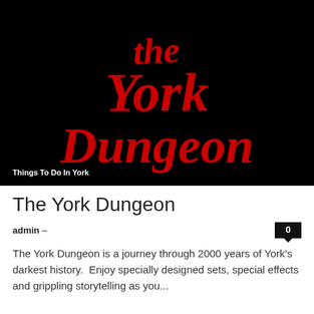[Figure (logo): The York Dungeon logo — stylized red horror text 'the York Dungeon' on a black background]
Things To Do In York
The York Dungeon
admin –
The York Dungeon is a journey through 2000 years of York's darkest history.  Enjoy specially designed sets, special effects and grippling storytelling as you...